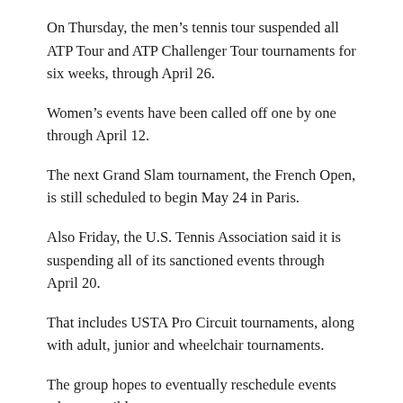On Thursday, the men's tennis tour suspended all ATP Tour and ATP Challenger Tour tournaments for six weeks, through April 26.
Women's events have been called off one by one through April 12.
The next Grand Slam tournament, the French Open, is still scheduled to begin May 24 in Paris.
Also Friday, the U.S. Tennis Association said it is suspending all of its sanctioned events through April 20.
That includes USTA Pro Circuit tournaments, along with adult, junior and wheelchair tournaments.
The group hopes to eventually reschedule events where possible.
—